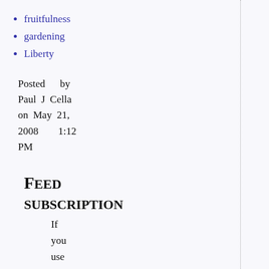fruitfulness
gardening
Liberty
Posted by Paul J Cella on May 21, 2008 1:12 PM
Feed Subscription
If you use an RSS reader, you can subscribe to a feed